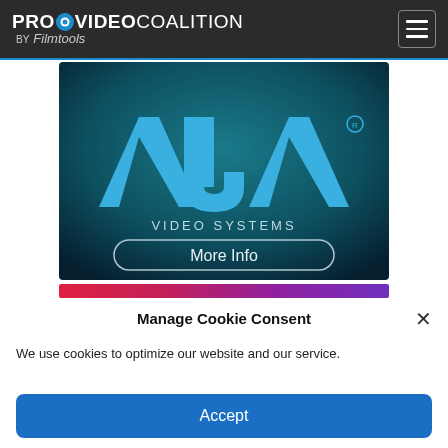PROVIDEO COALITION BY Filmtools
[Figure (photo): AJA Video Systems advertisement banner with blue underwater background, AJA logo and 'VIDEO SYSTEMS' text, and a 'More Info' button]
[Figure (other): Horizontal gradient decorative bar from red/pink to purple]
Manage Cookie Consent
We use cookies to optimize our website and our service.
Accept